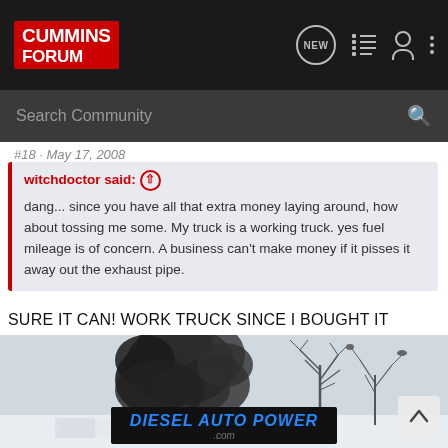Cummins Forum
#18 · May 17, 2008
witchdoctor said: ↑
dang... since you have all that extra money laying around, how about tossing me some. My truck is a working truck. yes fuel mileage is of concern. A business can't make money if it pisses it away out the exhaust pipe.
SURE IT CAN! WORK TRUCK SINCE I BOUGHT IT
[Figure (photo): Photo of a truck emitting a large dark smoke cloud (rolling coal), with bare winter trees visible in the background and a Diesel Auto Power advertisement banner overlaid at the bottom.]